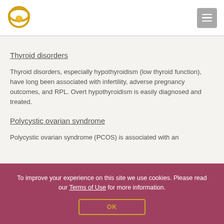[Figure (logo): Circular logo with orange/gold ring and sphere design]
Thyroid disorders
Thyroid disorders, especially hypothyroidism (low thyroid function), have long been associated with infertility, adverse pregnancy outcomes, and RPL. Overt hypothyroidism is easily diagnosed and treated.
Polycystic ovarian syndrome
Polycystic ovarian syndrome (PCOS) is associated with an
To improve your experience on this site we use cookies. Please read our Terms of Use for more information.
OK